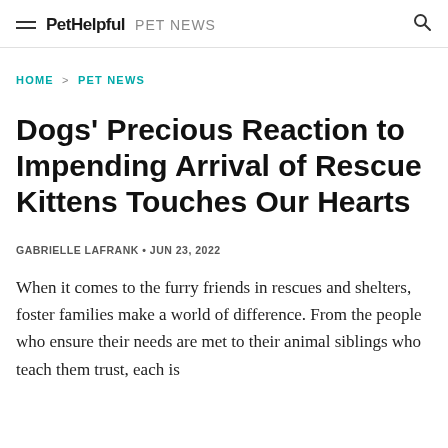PetHelpful  PET NEWS
HOME > PET NEWS
Dogs' Precious Reaction to Impending Arrival of Rescue Kittens Touches Our Hearts
GABRIELLE LAFRANK • JUN 23, 2022
When it comes to the furry friends in rescues and shelters, foster families make a world of difference. From the people who ensure their needs are met to their animal siblings who teach them trust, each is